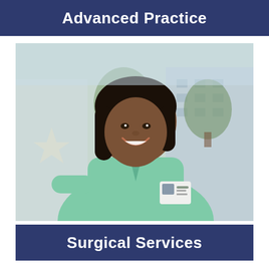Advanced Practice
[Figure (photo): A smiling female healthcare worker wearing green scrubs and an ID badge, photographed outdoors near a modern hospital building with trees in the background.]
Surgical Services